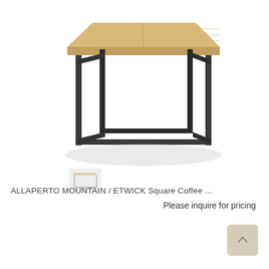[Figure (photo): A square coffee table with a light wood top (natural teak/oak slats) and a dark grey/black metal frame base, shown on a white background. The table is small and low, with a minimalist industrial design.]
ALLAPERTO MOUNTAIN / ETWICK Square Coffee ...
Please inquire for pricing